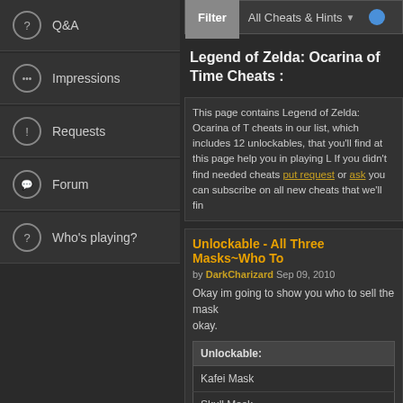Q&A
Impressions
Requests
Forum
Who's playing?
Filter  All Cheats & Hints
Legend of Zelda: Ocarina of Time Cheats :
This page contains Legend of Zelda: Ocarina of T... cheats in our list, which includes 12 unlockables, that you'll find at this page help you in playing L... If you didn't find needed cheats put request or ask... you can subscribe on all new cheats that we'll fin...
Unlockable - All Three Masks~Who To...
by DarkCharizard Sep 09, 2010
Okay im going to show you who to sell the mask... okay.
| Unlockable: |
| --- |
| Kafei Mask |
| Skull Mask |